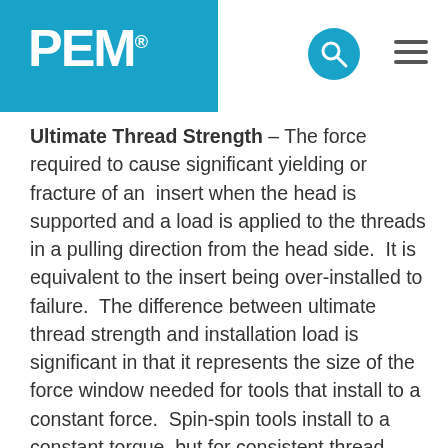PEM
Ultimate Thread Strength – The force required to cause significant yielding or fracture of an insert when the head is supported and a load is applied to the threads in a pulling direction from the head side. It is equivalent to the insert being over-installed to failure. The difference between ultimate thread strength and installation load is significant in that it represents the size of the force window needed for tools that install to a constant force. Spin-spin tools install to a constant torque, but for consistent thread friction conditions, they in fact install to a constant f...